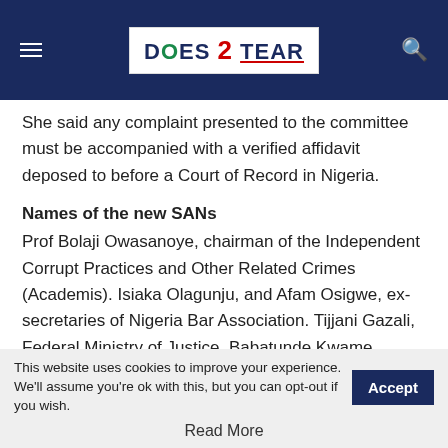Does2Tear [logo with navigation]
She said any complaint presented to the committee must be accompanied with a verified affidavit deposed to before a Court of Record in Nigeria.
Names of the new SANs
Prof Bolaji Owasanoye, chairman of the Independent Corrupt Practices and Other Related Crimes (Academis). Isiaka Olagunju, and Afam Osigwe, ex-secretaries of Nigeria Bar Association. Tijjani Gazali, Federal Ministry of Justice. Babatunde Kwame Ogala: former National Legal Adviser of the All Progressives Congress. Professor Oyelowo Oyewo,
This website uses cookies to improve your experience. We'll assume you're ok with this, but you can opt-out if you wish.
Read More